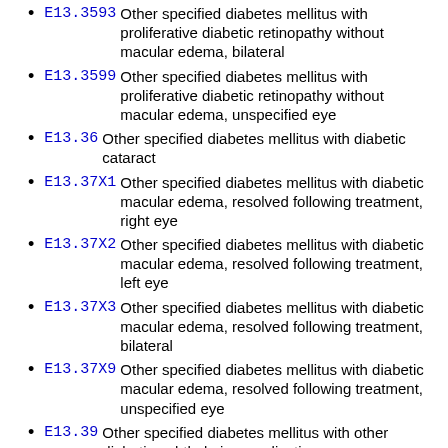E13.3593 Other specified diabetes mellitus with proliferative diabetic retinopathy without macular edema, bilateral
E13.3599 Other specified diabetes mellitus with proliferative diabetic retinopathy without macular edema, unspecified eye
E13.36 Other specified diabetes mellitus with diabetic cataract
E13.37X1 Other specified diabetes mellitus with diabetic macular edema, resolved following treatment, right eye
E13.37X2 Other specified diabetes mellitus with diabetic macular edema, resolved following treatment, left eye
E13.37X3 Other specified diabetes mellitus with diabetic macular edema, resolved following treatment, bilateral
E13.37X9 Other specified diabetes mellitus with diabetic macular edema, resolved following treatment, unspecified eye
E13.39 Other specified diabetes mellitus with other diabetic ophthalmic complication
E13.40 Other specified diabetes mellitus with diabetic neuropathy, unspecified
E13.41 Other specified diabetes mellitus with diabetic mononeuropathy
E13.42 Other specified diabetes mellitus with diabetic